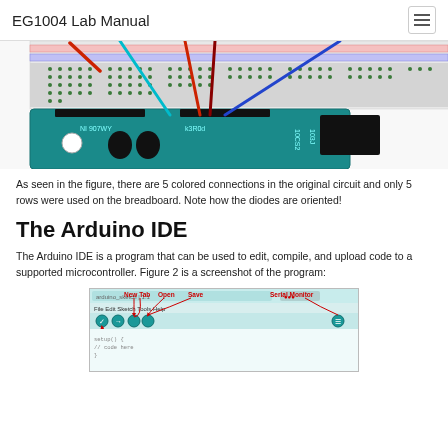EG1004 Lab Manual
[Figure (photo): Partial view of an Arduino connected to a breadboard with 5 colored wire connections (red, blue, cyan/teal, dark red, and another wire). The breadboard shows rows of connection points.]
As seen in the figure, there are 5 colored connections in the original circuit and only 5 rows were used on the breadboard. Note how the diodes are oriented!
The Arduino IDE
The Arduino IDE is a program that can be used to edit, compile, and upload code to a supported microcontroller. Figure 2 is a screenshot of the program:
[Figure (screenshot): Screenshot of the Arduino IDE interface showing labels: New Tab, Open, Save, Serial Monitor at the top, and Verify on the left side with arrows pointing to the corresponding buttons.]